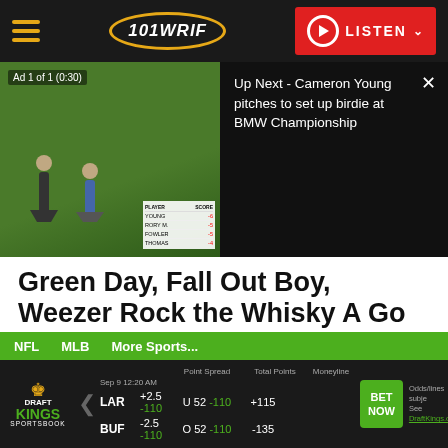101 WRIF — LISTEN
[Figure (screenshot): Video player showing golf footage with two golfers on a green course. Ad label reads 'Ad 1 of 1 (0:30)'. Right panel shows 'Up Next - Cameron Young pitches to set up birdie at BMW Championship' on black background with close button.]
Green Day, Fall Out Boy, Weezer Rock the Whisky A Go Go
Share
...
NFL  MLB  More Sports...  LAR +2.5 -110  U 52 -110  +115  BET NOW  BUF -2.5 -110  O 52 -110  -135  Odds/lines subject to change. See DraftKings.com